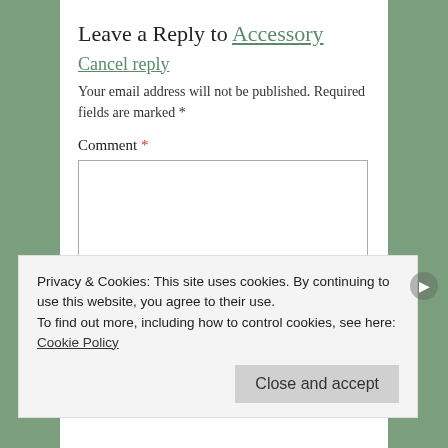Leave a Reply to Accessory Cancel reply
Your email address will not be published. Required fields are marked *
Comment *
[Figure (screenshot): Empty comment text area input box with a gray border]
Privacy & Cookies: This site uses cookies. By continuing to use this website, you agree to their use.
To find out more, including how to control cookies, see here: Cookie Policy
Close and accept